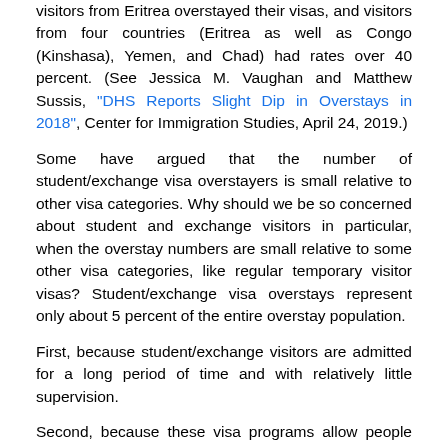visitors from Eritrea overstayed their visas, and visitors from four countries (Eritrea as well as Congo (Kinshasa), Yemen, and Chad) had rates over 40 percent. (See Jessica M. Vaughan and Matthew Sussis, "DHS Reports Slight Dip in Overstays in 2018", Center for Immigration Studies, April 24, 2019.)
Some have argued that the number of student/exchange visa overstayers is small relative to other visa categories. Why should we be so concerned about student and exchange visitors in particular, when the overstay numbers are small relative to some other visa categories, like regular temporary visitor visas? Student/exchange visa overstays represent only about 5 percent of the entire overstay population.
First, because student/exchange visitors are admitted for a long period of time and with relatively little supervision.
Second, because these visa programs allow people who would not otherwise qualify for a visa to gain admission to the United States. These are people who are relatively young, perhaps not in stable employment, and thus represent a high risk for overstaying. But under our system, if they can get a college, community college, vocational school, or exchange program to accept them as participants or enroll them as students, they probably can get a